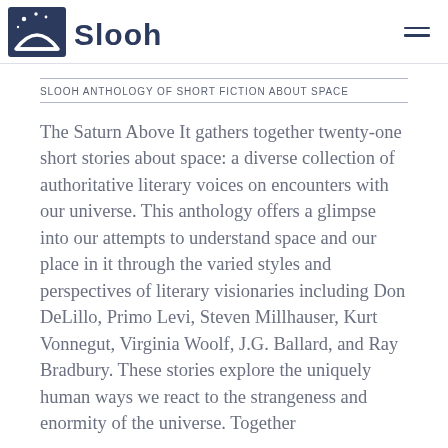[Figure (logo): Slooh logo: dark blue icon with stars and arch shape, followed by 'Slooh' text in dark blue]
SLOOH ANTHOLOGY OF SHORT FICTION ABOUT SPACE
The Saturn Above It gathers together twenty-one short stories about space: a diverse collection of authoritative literary voices on encounters with our universe. This anthology offers a glimpse into our attempts to understand space and our place in it through the varied styles and perspectives of literary visionaries including Don DeLillo, Primo Levi, Steven Millhauser, Kurt Vonnegut, Virginia Woolf, J.G. Ballard, and Ray Bradbury. These stories explore the uniquely human ways we react to the strangeness and enormity of the universe. Together